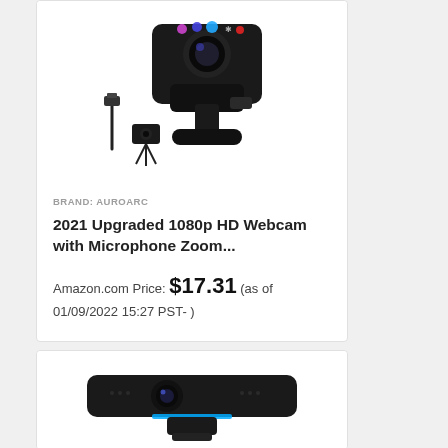[Figure (photo): Product image of a black 1080p HD webcam with USB cable and small tripod stand]
BRAND: AUROARC
2021 Upgraded 1080p HD Webcam with Microphone Zoom...
Amazon.com Price: $17.31 (as of 01/09/2022 15:27 PST- )
[Figure (photo): Product image of a black wide-angle bar-style webcam with blue accents on a monitor clip mount]